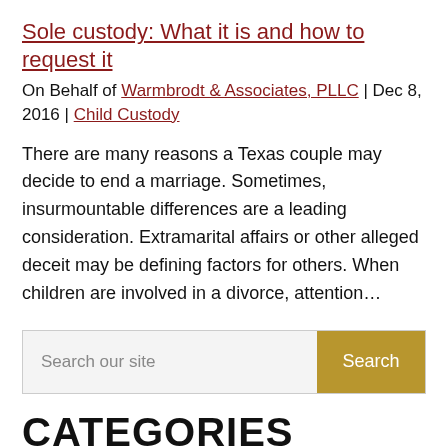Sole custody: What it is and how to request it
On Behalf of Warmbrodt & Associates, PLLC | Dec 8, 2016 | Child Custody
There are many reasons a Texas couple may decide to end a marriage. Sometimes, insurmountable differences are a leading consideration. Extramarital affairs or other alleged deceit may be defining factors for others. When children are involved in a divorce, attention…
Search our site
CATEGORIES